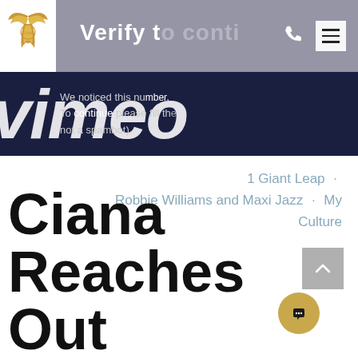[Figure (screenshot): Website header with logo on left and navigation bar with phone and hamburger menu icons on right, overlaid with Vimeo CAPTCHA verification dialog on dark navy background with text 'Verify to conti...' and body text about verifying not a spambot, with large italic white 'vimeo' watermark text]
1 Giant Leap · Robbie Williams and Maxi Jazz · My Culture
Ciana Reaches Out